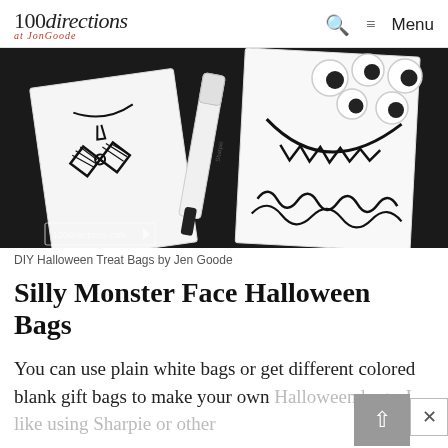100directions at JonGoode | Search | Menu
[Figure (photo): Photo of DIY Halloween treat bags on a dark background. White paper bags with hand-drawn monster faces and bow-tie illustrations, a Sharpie marker, googly eyes, and a watermark arrow reading 100directions.com.]
DIY Halloween Treat Bags by Jen Goode
Silly Monster Face Halloween Bags
You can use plain white bags or get different colored blank gift bags to make your own Halloween bags. I like using Sharpie or other